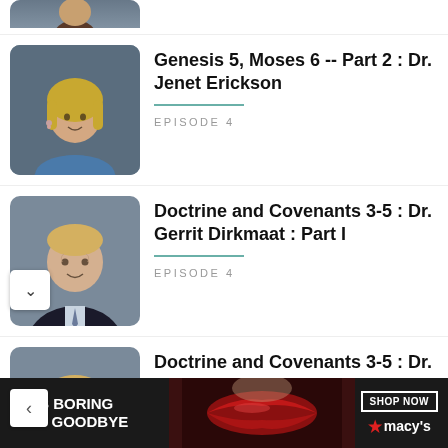[Figure (photo): Partial view of a person at the top of the page, cropped]
Genesis 5, Moses 6 -- Part 2 : Dr. Jenet Erickson
EPISODE 4
[Figure (photo): Photo of Dr. Gerrit Dirkmaat, a man in a dark suit with light hair]
Doctrine and Covenants 3-5 : Dr. Gerrit Dirkmaat : Part I
EPISODE 4
[Figure (photo): Partial photo of Dr. Gerrit Dirkmaat again at bottom]
Doctrine and Covenants 3-5 : Dr. Gerrit Dirkmaat : Part II
[Figure (screenshot): Advertisement banner: KISS BORING LIPS GOODBYE with SHOP NOW and Macy's logo]